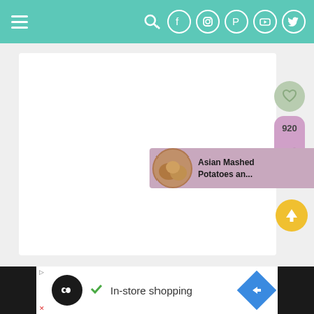Navigation bar with hamburger menu and social icons: search, Facebook, Instagram, Pinterest, YouTube, Twitter
[Figure (screenshot): White card placeholder content area on light gray background]
[Figure (infographic): Heart/save button (green circle), share count 920 in mauve pill shape with share icon below]
[Figure (photo): Recipe thumbnail showing Asian Mashed Potatoes an... with circular food photo]
[Figure (infographic): Yellow circular scroll-to-top button with upward arrow]
920
Asian Mashed Potatoes an...
[Figure (screenshot): Ad banner: black background with white ad content area showing Infinity Loops logo, checkmark, 'In-store shopping' text, and blue diamond navigation arrow]